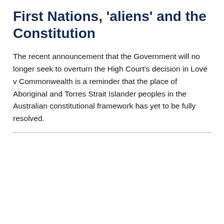First Nations, 'aliens' and the Constitution
The recent announcement that the Government will no longer seek to overturn the High Court's decision in Love v Commonwealth is a reminder that the place of Aboriginal and Torres Strait Islander peoples in the Australian constitutional framework has yet to be fully resolved.